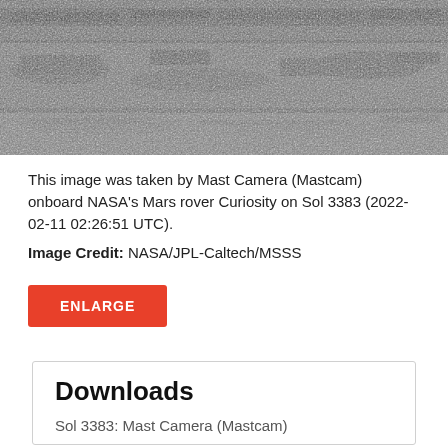[Figure (photo): Grayscale photograph of Mars surface taken by Mast Camera (Mastcam) onboard NASA's Curiosity rover, showing rocky terrain with layered rock formations and Martian soil.]
This image was taken by Mast Camera (Mastcam) onboard NASA's Mars rover Curiosity on Sol 3383 (2022-02-11 02:26:51 UTC).
Image Credit: NASA/JPL-Caltech/MSSS
ENLARGE
Downloads
Sol 3383: Mast Camera (Mastcam)